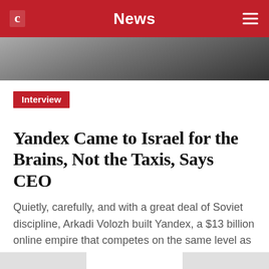News
[Figure (photo): Partial photo of a person in a white shirt, cropped at top of page]
Interview
Yandex Came to Israel for the Brains, Not the Taxis, Says CEO
Quietly, carefully, and with a great deal of Soviet discipline, Arkadi Volozh built Yandex, a $13 billion online empire that competes on the same level as Google. To get out from under the American tech giant's shadow, however, Volozh is placing his bets on winning the autonomous vehicle race, and is looking to the best Israeli